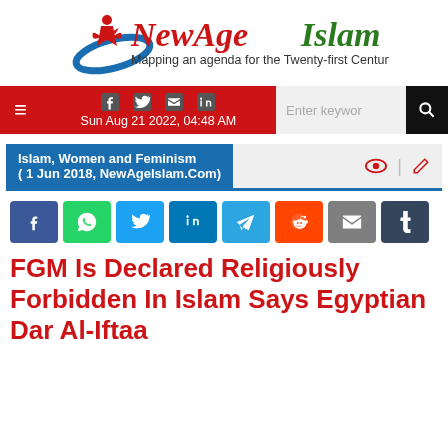[Figure (logo): NewAgeIslam logo with green figure and text 'NewAgeIslam' in red/green and tagline 'Mapping an agenda for the Twenty-first Century']
Sun Aug 21 2022, 04:48 AM
Islam, Women and Feminism
( 1 Jun 2018, NewAgeIslam.Com)
[Figure (infographic): Social share buttons row: Facebook, WhatsApp, Twitter, LinkedIn, Telegram, Reddit, Email, Tumblr]
FGM Is Declared Religiously Forbidden In Islam Says Egyptian Dar Al-Iftaa